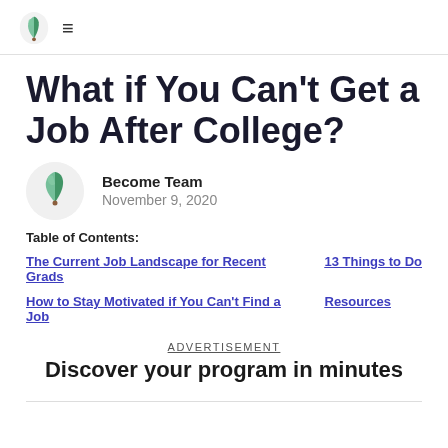Become Team logo and hamburger menu
What if You Can't Get a Job After College?
Become Team
November 9, 2020
Table of Contents:
The Current Job Landscape for Recent Grads
13 Things to Do
How to Stay Motivated if You Can't Find a Job
Resources
ADVERTISEMENT
Discover your program in minutes